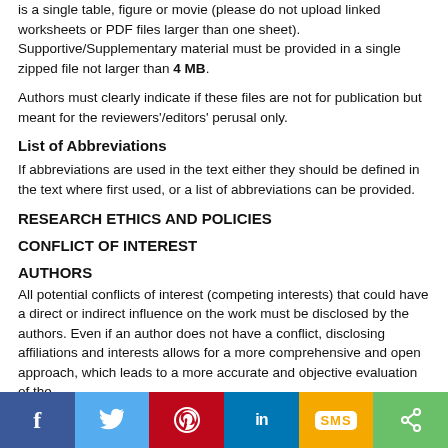is a single table, figure or movie (please do not upload linked worksheets or PDF files larger than one sheet). Supportive/Supplementary material must be provided in a single zipped file not larger than 4 MB.
Authors must clearly indicate if these files are not for publication but meant for the reviewers'/editors' perusal only.
List of Abbreviations
If abbreviations are used in the text either they should be defined in the text where first used, or a list of abbreviations can be provided.
RESEARCH ETHICS AND POLICIES
CONFLICT OF INTEREST
AUTHORS
All potential conflicts of interest (competing interests) that could have a direct or indirect influence on the work must be disclosed by the authors. Even if an author does not have a conflict, disclosing affiliations and interests allows for a more comprehensive and open approach, which leads to a more accurate and objective evaluation of the work. Conflicts of interest by the competing interests...